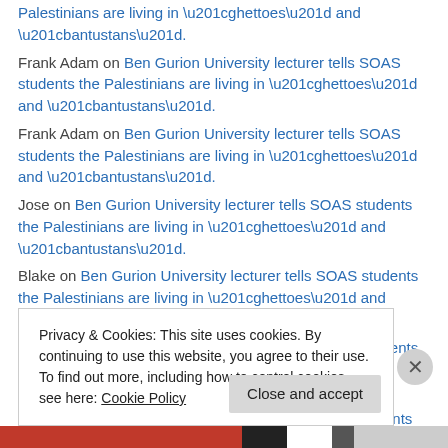Palestinians are living in “ghettoes” and “bantustans”.
Frank Adam on Ben Gurion University lecturer tells SOAS students the Palestinians are living in “ghettoes” and “bantustans”.
Frank Adam on Ben Gurion University lecturer tells SOAS students the Palestinians are living in “ghettoes” and “bantustans”.
Jose on Ben Gurion University lecturer tells SOAS students the Palestinians are living in “ghettoes” and “bantustans”.
Blake on Ben Gurion University lecturer tells SOAS students the Palestinians are living in “ghettoes” and “bantustans”.
Blake on Ben Gurion University lecturer tells SOAS students the Palestinians are living in “ghettoes” and “bantustans”.
Jose on Ben Gurion University lecturer tells SOAS students the Palestinians are living in “ghettoes” and “bantustans”.
Privacy & Cookies: This site uses cookies. By continuing to use this website, you agree to their use. To find out more, including how to control cookies, see here: Cookie Policy